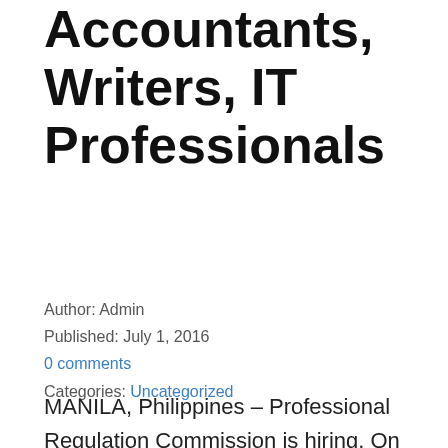Accountants, Writers, IT Professionals
Author: Admin
Published: July 1, 2016
0 comments
Categories: Uncategorized
MANILA, Philippines – Professional Regulation Commission is hiring. On July 2016, the commission announced the jobs available at PRC Central Office. As mentioned, they are in need of the following positions. Fresh grads can also apply. Job Opening Bachelor of Laws Graduates Certified Public